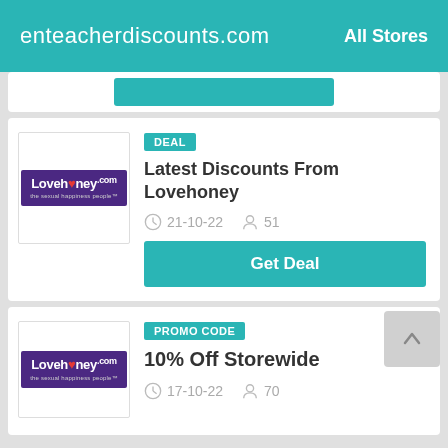enteacherdiscounts.com  All Stores
[Figure (screenshot): Partial teal button from a previous card, cut off at top]
[Figure (screenshot): Deal card for Lovehoney featuring DEAL badge, title 'Latest Discounts From Lovehoney', date 21-10-22, 51 users, Get Deal button]
[Figure (screenshot): Promo code card for Lovehoney featuring PROMO CODE badge, title '10% Off Storewide', date 17-10-22, 70 users, with back-to-top button]